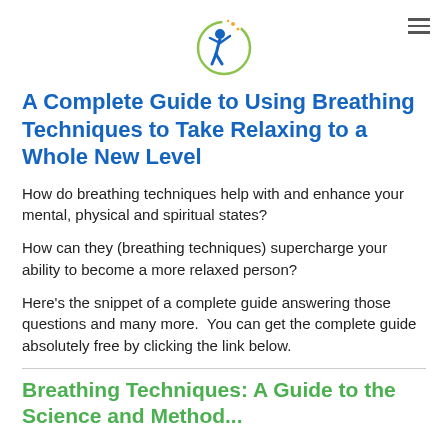[Figure (logo): Blue and green circular logo with a figure and stars]
A Complete Guide to Using Breathing Techniques to Take Relaxing to a Whole New Level
How do breathing techniques help with and enhance your mental, physical and spiritual states?
How can they (breathing techniques) supercharge your ability to become a more relaxed person?
Here's the snippet of a complete guide answering those questions and many more.  You can get the complete guide absolutely free by clicking the link below.
Breathing Techniques: A Guide to the Science and Method...